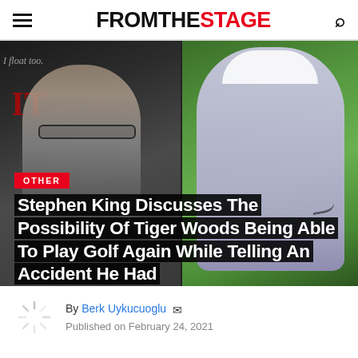FROMTHESTAGE
[Figure (photo): Hero image showing two photos side by side: left is Stephen King at an IT movie event (dark background), right is Tiger Woods in a light purple Nike shirt on a golf course with green background. Overlaid text badge says OTHER and article headline is displayed over the image.]
Stephen King Discusses The Possibility Of Tiger Woods Being Able To Play Golf Again While Telling An Accident He Had
By Berk Uykucuoglu  Published on February 24, 2021